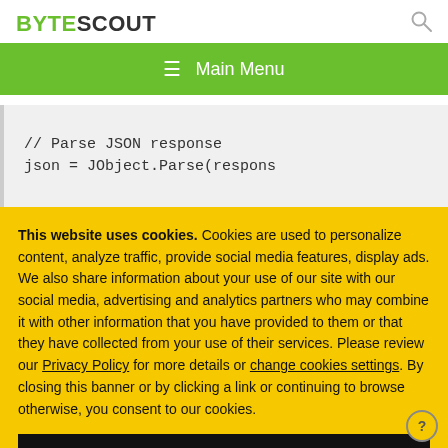BYTESCOUT
// Parse JSON response
json = JObject.Parse(respons
This website uses cookies. Cookies are used to personalize content, analyze traffic, provide social media features, display ads. We also share information about your use of our site with our social media, advertising and analytics partners who may combine it with other information that you have provided to them or that they have collected from your use of their services. Please review our Privacy Policy for more details or change cookies settings. By closing this banner or by clicking a link or continuing to browse otherwise, you consent to our cookies.
OK